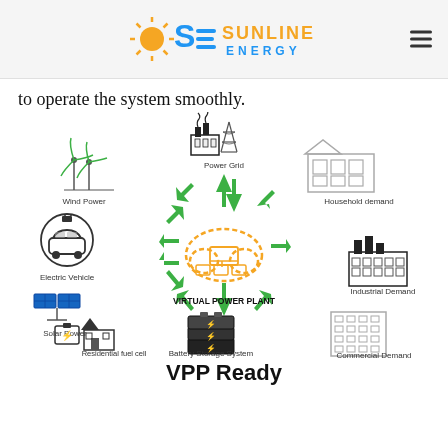SUNLINE ENERGY
to operate the system smoothly.
[Figure (infographic): Virtual Power Plant infographic showing a central orange cloud icon labeled 'VIRTUAL POWER PLANT' connected by green arrows to: Power Grid (top, with factory and power tower icons), Wind Power (upper left, with wind turbine icon), Electric Vehicle (left, with EV icon in circle), Solar Power (lower left, with solar panel icon), Residential fuel cell (bottom left, with battery and house icons), Battery Storage System (bottom center, with battery stack icon), Commercial Demand (bottom right, with commercial building icon), Industrial Demand (right, with factory icon), Household demand (upper right, with house icon).]
VPP Ready